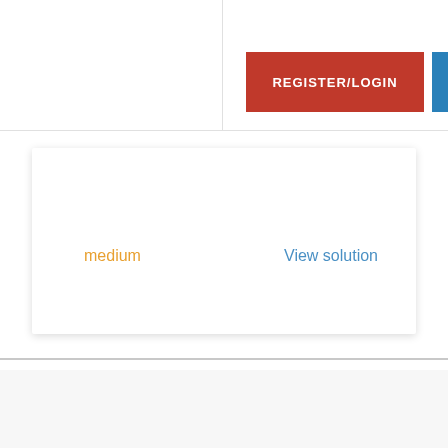REGISTER/LOGIN
CALL US
medium
View solution
ABOUT US